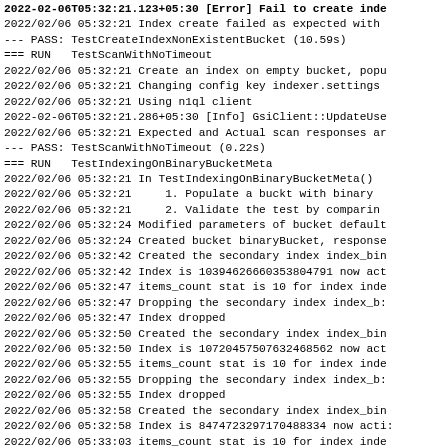2022-02-06T05:32:21.123+05:30 [Error] Fail to create inde
2022/02/06 05:32:21 Index create failed as expected with
--- PASS: TestCreateIndexNonExistentBucket (10.59s)
=== RUN   TestScanWithNoTimeout
2022/02/06 05:32:21 Create an index on empty bucket, popu
2022/02/06 05:32:21 Changing config key indexer.settings
2022/02/06 05:32:21 Using n1ql client
2022-02-06T05:32:21.286+05:30 [Info] GsiClient::UpdateUse
2022/02/06 05:32:21 Expected and Actual scan responses ar
--- PASS: TestScanWithNoTimeout (0.22s)
=== RUN   TestIndexingOnBinaryBucketMeta
2022/02/06 05:32:21 In TestIndexingOnBinaryBucketMeta()
2022/02/06 05:32:21     1. Populate a buckt with binary
2022/02/06 05:32:21     2. Validate the test by comparin
2022/02/06 05:32:24 Modified parameters of bucket default
2022/02/06 05:32:24 Created bucket binaryBucket, response
2022/02/06 05:32:42 Created the secondary index index_bin
2022/02/06 05:32:42 Index is 10394626660353804791 now act
2022/02/06 05:32:47 items_count stat is 10 for index inde
2022/02/06 05:32:47 Dropping the secondary index index_b:
2022/02/06 05:32:47 Index dropped
2022/02/06 05:32:50 Created the secondary index index_bin
2022/02/06 05:32:50 Index is 10720457507632468562 now act
2022/02/06 05:32:55 items_count stat is 10 for index inde
2022/02/06 05:32:55 Dropping the secondary index index_b:
2022/02/06 05:32:55 Index dropped
2022/02/06 05:32:58 Created the secondary index index_bin
2022/02/06 05:32:58 Index is 8474723297170488334 now acti:
2022/02/06 05:33:03 items_count stat is 10 for index inde
2022/02/06 05:33:03 Dropping the secondary index index_b